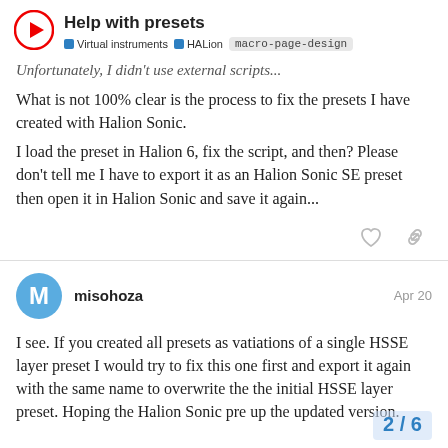Help with presets — Virtual instruments | HALion | macro-page-design
Unfortunately, I didn't use external scripts...
What is not 100% clear is the process to fix the presets I have created with Halion Sonic.
I load the preset in Halion 6, fix the script, and then? Please don't tell me I have to export it as an Halion Sonic SE preset then open it in Halion Sonic and save it again...
misohoza Apr 20
I see. If you created all presets as vatiations of a single HSSE layer preset I would try to fix this one first and export it again with the same name to overwrite the the initial HSSE layer preset. Hoping the Halion Sonic pre up the updated version.
2 / 6